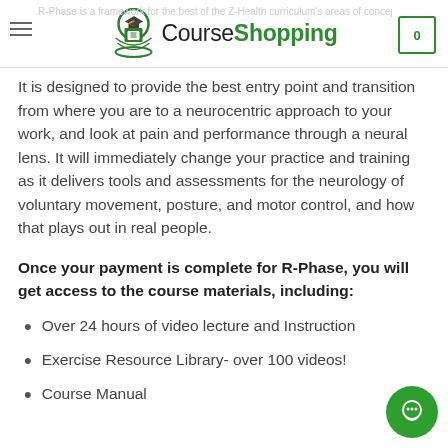CourseShopping
It is designed to provide the best entry point and transition from where you are to a neurocentric approach to your work, and look at pain and performance through a neural lens. It will immediately change your practice and training as it delivers tools and assessments for the neurology of voluntary movement, posture, and motor control, and how that plays out in real people.
Once your payment is complete for R-Phase, you will get access to the course materials, including:
Over 24 hours of video lecture and Instruction
Exercise Resource Library- over 100 videos!
Course Manual